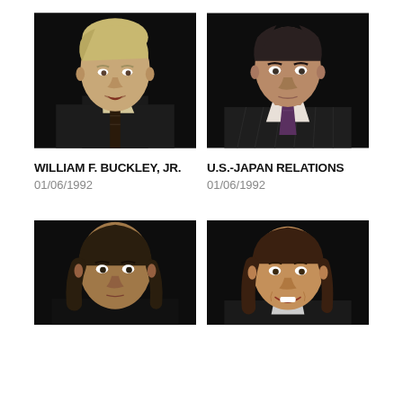[Figure (photo): Headshot of William F. Buckley, Jr. — older man with blond/white hair, dark suit, striped tie, against black background]
[Figure (photo): Headshot of a man in dark pinstripe suit with purple tie against black background, related to U.S.-Japan Relations segment]
WILLIAM F. BUCKLEY, JR.
01/06/1992
U.S.-JAPAN RELATIONS
01/06/1992
[Figure (photo): Headshot of a man with longer dark hair against black background, partially cropped at bottom]
[Figure (photo): Headshot of a woman with brown hair, smiling, against black background, partially cropped at bottom]